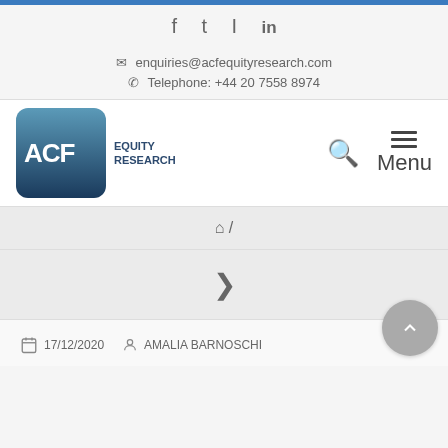f  twitter  instagram  in
enquiries@acfequityresearch.com
Telephone: +44 20 7558 8974
[Figure (logo): ACF Equity Research logo — rounded rectangle with gradient blue background, white bold text ACF and EQUITY RESEARCH label]
Menu
🏠 /
>
17/12/2020   AMALIA BARNOSCHI